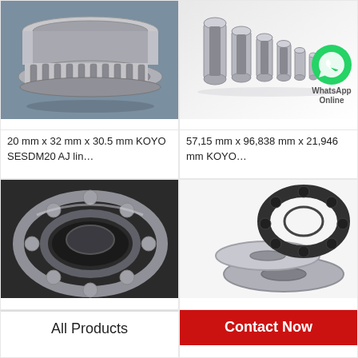[Figure (photo): Tapered roller bearing components - outer ring and inner assembly with rollers on blue-grey background]
20 mm x 32 mm x 30.5 mm KOYO SESDM20 AJ lin…
[Figure (photo): Row of linear bearing bushings in decreasing size on white background]
[Figure (logo): WhatsApp Online button - green circle with phone icon and text WhatsApp Online]
57,15 mm x 96,838 mm x 21,946 mm KOYO…
[Figure (photo): Deep groove ball bearing on dark background]
[Figure (photo): Thrust ball bearing components - washer and ball cage on white background]
All Products
Contact Now